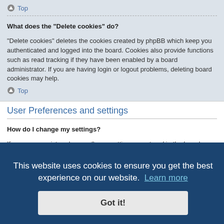Top
What does the “Delete cookies” do?
“Delete cookies” deletes the cookies created by phpBB which keep you authenticated and logged into the board. Cookies also provide functions such as read tracking if they have been enabled by a board administrator. If you are having login or logout problems, deleting board cookies may help.
Top
User Preferences and settings
How do I change my settings?
If you are a registered user, all your settings are stored in the board database. To alter them, visit your User Control Panel; a link can usually be found by clicking on your username at the top of board pages. This system will allow you
This website uses cookies to ensure you get the best experience on our website. Learn more
Got it!